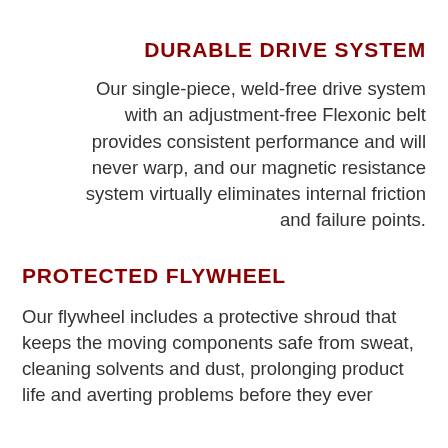DURABLE DRIVE SYSTEM
Our single-piece, weld-free drive system with an adjustment-free Flexonic belt provides consistent performance and will never warp, and our magnetic resistance system virtually eliminates internal friction and failure points.
PROTECTED FLYWHEEL
Our flywheel includes a protective shroud that keeps the moving components safe from sweat, cleaning solvents and dust, prolonging product life and averting problems before they ever